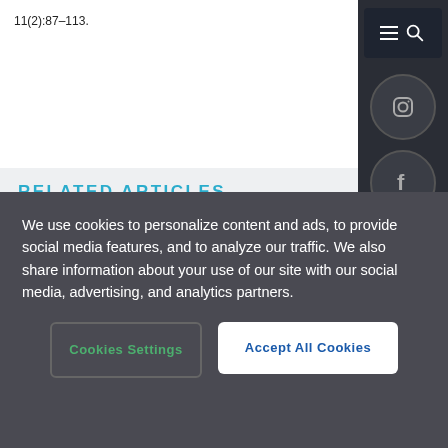11(2):87–113.
RELATED ARTICLES
How Do Neanderthals Fit with a Biblical Model?
by Raul Esperante
We use cookies to personalize content and ads, to provide social media features, and to analyze our traffic. We also share information about your use of our site with our social media, advertising, and analytics partners.
Cookies Settings
Accept All Cookies